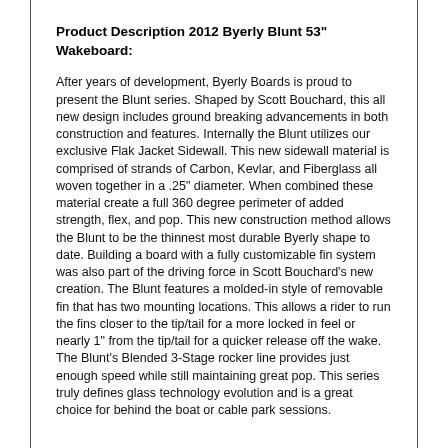Product Description 2012 Byerly Blunt 53" Wakeboard:
After years of development, Byerly Boards is proud to present the Blunt series. Shaped by Scott Bouchard, this all new design includes ground breaking advancements in both construction and features. Internally the Blunt utilizes our exclusive Flak Jacket Sidewall. This new sidewall material is comprised of strands of Carbon, Kevlar, and Fiberglass all woven together in a .25" diameter. When combined these material create a full 360 degree perimeter of added strength, flex, and pop. This new construction method allows the Blunt to be the thinnest most durable Byerly shape to date. Building a board with a fully customizable fin system was also part of the driving force in Scott Bouchard's new creation. The Blunt features a molded-in style of removable fin that has two mounting locations. This allows a rider to run the fins closer to the tip/tail for a more locked in feel or nearly 1" from the tip/tail for a quicker release off the wake. The Blunt's Blended 3-Stage rocker line provides just enough speed while still maintaining great pop. This series truly defines glass technology evolution and is a great choice for behind the boat or cable park sessions.